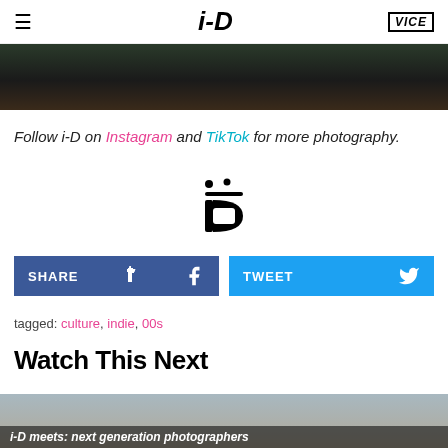i-D | VICE
[Figure (photo): Dark photo strip at top of article]
Follow i-D on Instagram and TikTok for more photography.
[Figure (logo): i-D magazine logo centered]
SHARE | TWEET social share buttons
tagged: culture, indie, 00s
Watch This Next
[Figure (photo): i-D meets: next generation photographers video thumbnail]